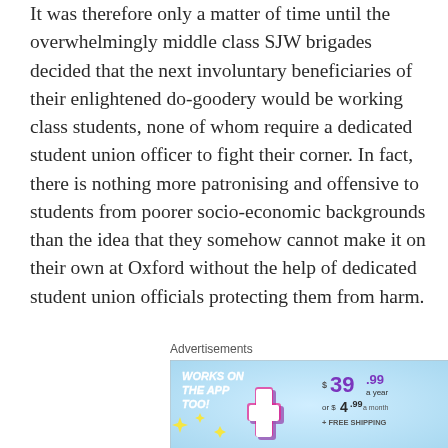It was therefore only a matter of time until the overwhelmingly middle class SJW brigades decided that the next involuntary beneficiaries of their enlightened do-goodery would be working class students, none of whom require a dedicated student union officer to fight their corner. In fact, there is nothing more patronising and offensive to students from poorer socio-economic backgrounds than the idea that they somehow cannot make it on their own at Oxford without the help of dedicated student union officials protecting them from harm.
Advertisements
[Figure (illustration): Advertisement banner with light blue background showing 'WORKS ON THE APP TOO!' in bold white italic text on left, yellow sparkle stars, a stylized plus icon in purple/pink/white, and pricing text '$39.99 a year or $4.99 a month + FREE SHIPPING' in purple and dark text on the right.]